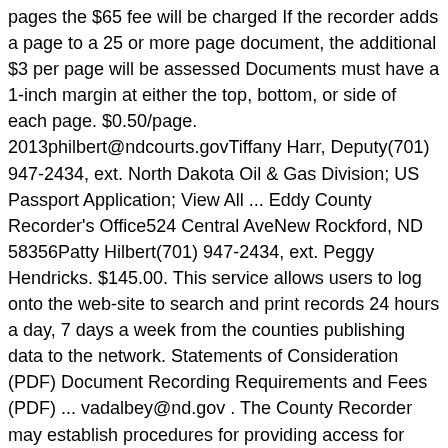pages the $65 fee will be charged If the recorder adds a page to a 25 or more page document, the additional $3 per page will be assessed Documents must have a 1-inch margin at either the top, bottom, or side of each page. $0.50/page. 2013philbert@ndcourts.govTiffany Harr, Deputy(701) 947-2434, ext. North Dakota Oil & Gas Division; US Passport Application; View All ... Eddy County Recorder's Office524 Central AveNew Rockford, ND 58356Patty Hilbert(701) 947-2434, ext. Peggy Hendricks. $145.00. This service allows users to log onto the web-site to search and print records 24 hours a day, 7 days a week from the counties publishing data to the network. Statements of Consideration (PDF) Document Recording Requirements and Fees (PDF) ... vadalbey@nd.gov . The County Recorder may establish procedures for providing access for duplicating records under the County Recorders' control. See New Fee Schedule effective July 1, 2017, under Documents and Links. Marriage Information. Crosby, ND 58730 Phone: (701) 965-6661 Fax: (701) 965-6943 Christina Running